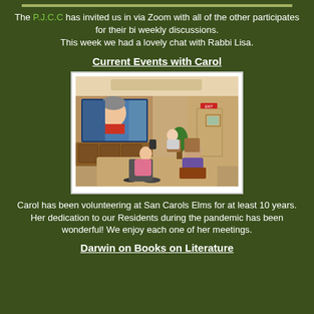The P.J.C.C has invited us in via Zoom with all of the other participates for their bi weekly discussions. This week we had a lovely chat with Rabbi Lisa.
Current Events with Carol
[Figure (photo): Elderly residents seated in a common room watching a large TV screen showing a video call with a woman (Carol) visible on screen. One resident is in a wheelchair.]
Carol has been volunteering at San Carols Elms for at least 10 years. Her dedication to our Residents during the pandemic has been wonderful! We enjoy each one of her meetings.
Darwin on Books on Literature